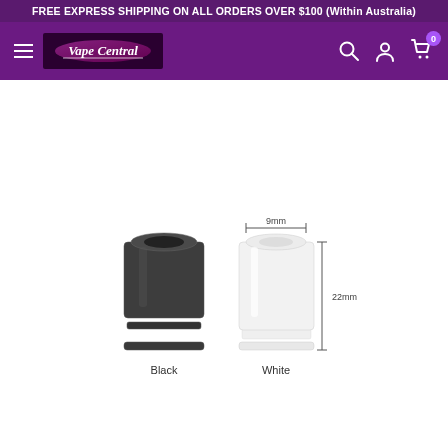FREE EXPRESS SHIPPING ON ALL ORDERS OVER $100 (Within Australia)
[Figure (screenshot): Vape Central online store navigation bar with hamburger menu, Vape Central logo, search icon, account icon, and cart icon with badge showing 0]
[Figure (photo): Two drip tips shown side by side — one black and one white/frosted. The white one has dimension annotations showing 9mm width at top and 22mm height. Labels below read 'Black' and 'White'.]